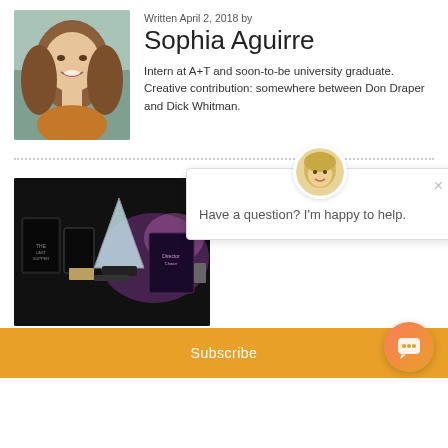[Figure (photo): Author photo of Sophia Aguirre, a young woman with long hair, smiling, outdoors.]
Written April 2, 2018 by
Sophia Aguirre
Intern at A+T and soon-to-be university graduate. Creative contribution: somewhere between Don Draper and Dick Whitman.
[Figure (photo): Photo of various award trophies and plaques displayed on a dark background.]
[Figure (screenshot): Chat popup widget with avatar, close button, and message: Have a question? I'm happy to help.]
Subscribe